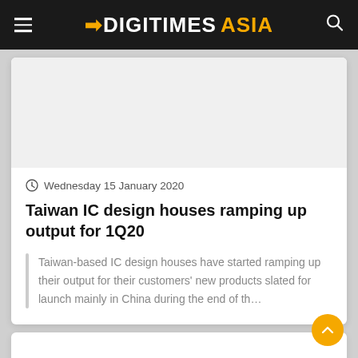DIGITIMES asia
[Figure (photo): Article thumbnail image area (white/light gray placeholder)]
Wednesday 15 January 2020
Taiwan IC design houses ramping up output for 1Q20
Taiwan-based IC design houses have started ramping up their output for their customers' new products slated for launch mainly in China during the end of th...